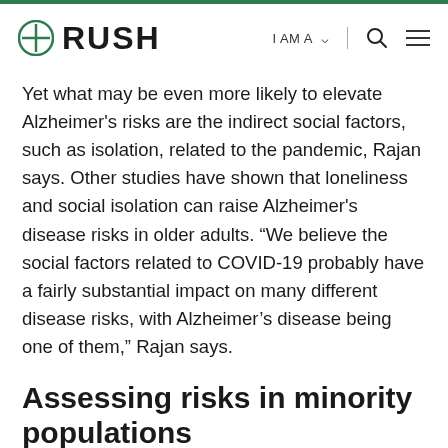RUSH | I AM A | [search] [menu]
Yet what may be even more likely to elevate Alzheimer's risks are the indirect social factors, such as isolation, related to the pandemic, Rajan says. Other studies have shown that loneliness and social isolation can raise Alzheimer's disease risks in older adults. “We believe the social factors related to COVID-19 probably have a fairly substantial impact on many different disease risks, with Alzheimer’s disease being one of them,” Rajan says.
Assessing risks in minority populations